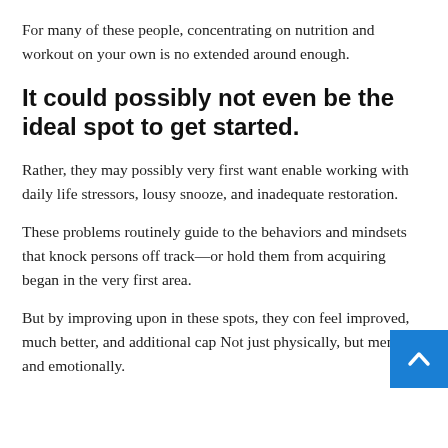For many of these people, concentrating on nutrition and workout on your own is no extended around enough.
It could possibly not even be the ideal spot to get started.
Rather, they may possibly very first want enable working with daily life stressors, lousy snooze, and inadequate restoration.
These problems routinely guide to the behaviors and mindsets that knock persons off track—or hold them from acquiring began in the very first area.
But by improving upon in these spots, they con feel improved, much better, and additional cap Not just physically, but mentally and emotionally.